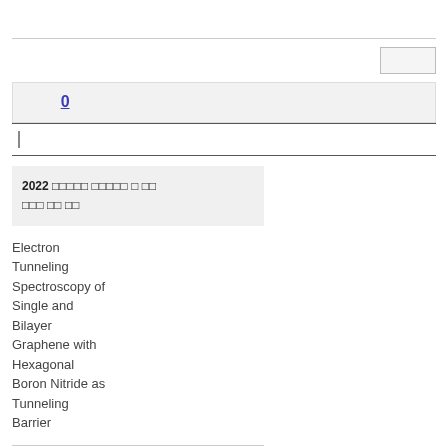00
00 0
00
2022 00000 00000 0 00 0000 00 00
Electron Tunneling Spectroscopy of Single and Bilayer Graphene with Hexagonal Boron Nitride as Tunneling Barrier
Gravity as a phenomenon in